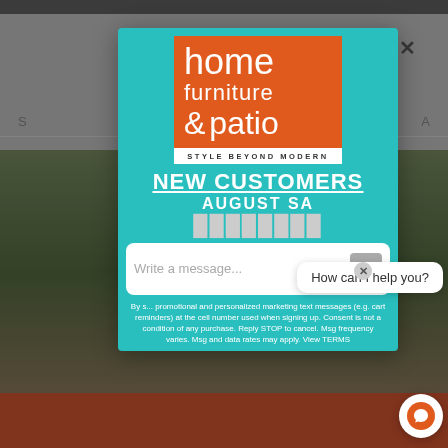[Figure (screenshot): Background website with gray header bar, navigation text 'S' on left and 'A' on right, horizontal rule, outdoor furniture photo, and orange-red footer bar]
[Figure (logo): Home Furniture & Patio logo: orange square with white text 'home furniture & patio' and white tagline bar 'STYLE BEYOND MODERN' below]
NEW CUSTOMERS
AUGUST SA
Write a message...
How can I help you?
By s... promotional and personalized marketing text messages (e.g. cart reminders) at the cell number used when signing up. Consent is not a condition of any purchase. Reply STOP to cancel. Msg frequency varies. Msg and data rates may apply. View TERMS